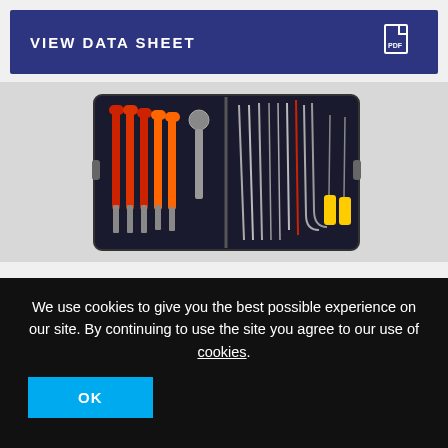VIEW DATA SHEET
[Figure (photo): Open tool kit case containing various screwdrivers with red/orange handles and precision tools arranged in a black foam-lined case]
We use cookies to give you the best possible experience on our site. By continuing to use the site you agree to our use of cookies.
OK